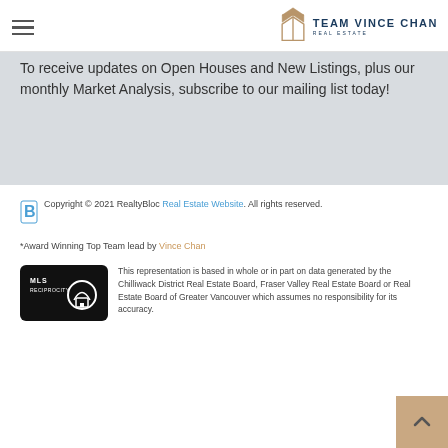Team Vince Chan Real Estate
To receive updates on Open Houses and New Listings, plus our monthly Market Analysis, subscribe to our mailing list today!
SUBSCRIBE
Copyright © 2021 RealtyBloc Real Estate Website. All rights reserved.
*Award Winning Top Team lead by Vince Chan
This representation is based in whole or in part on data generated by the Chilliwack District Real Estate Board, Fraser Valley Real Estate Board or Real Estate Board of Greater Vancouver which assumes no responsibility for its accuracy.